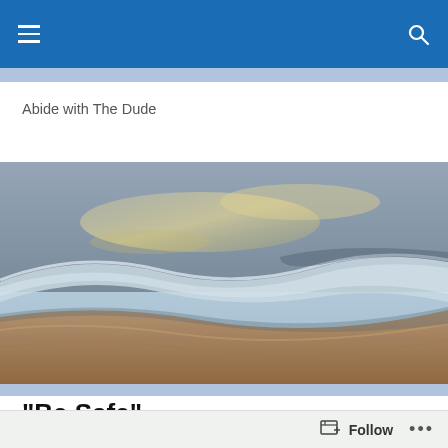Navigation bar with hamburger menu and search icon
Abide with The Dude
[Figure (photo): Beach scene with ocean waves rolling onto sandy shore, photographed at dusk or dawn with warm and cool tones]
“Be Safe”
Okay, I’ll admit it. I want to be safe in the sense that I don’t get shot in my house. I want to be safe in the sense that
Follow ...